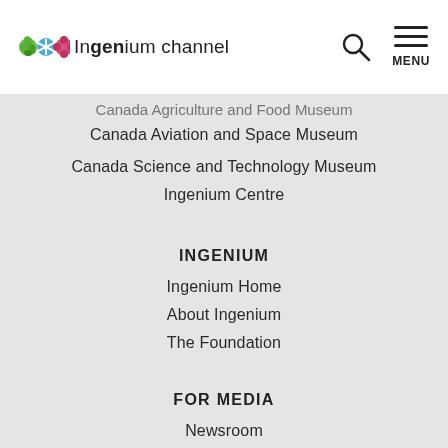[Figure (logo): Ingenium Channel logo with colorful leaf/snowflake icons and text]
Canada Agriculture and Food Museum
Canada Aviation and Space Museum
Canada Science and Technology Museum
Ingenium Centre
INGENIUM
Ingenium Home
About Ingenium
The Foundation
FOR MEDIA
Newsroom
Awards